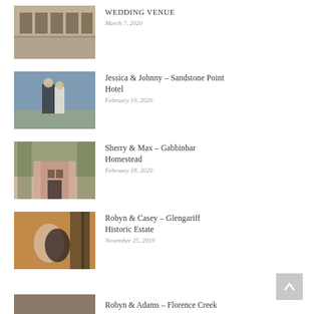[Figure (photo): Outdoor wedding venue with long tables set up in a rustic open-air setting]
WEDDING VENUE
March 7, 2020
[Figure (photo): Bride and groom standing on a dock or waterfront at dusk]
Jessica & Johnny – Sandstone Point Hotel
February 19, 2020
[Figure (photo): Couple standing in front of a rustic pink farmhouse with trees]
Sherry & Max – Gabbinbar Homestead
February 18, 2020
[Figure (photo): Couple embracing at sunset with tall trees in background]
Robyn & Casey – Glengariff Historic Estate
November 25, 2019
[Figure (photo): Partially visible photo of another wedding entry at the bottom]